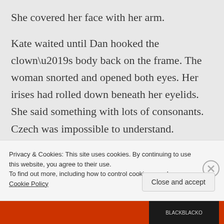She covered her face with her arm.
Kate waited until Dan hooked the clown’s body back on the frame. The woman snorted and opened both eyes. Her irises had rolled down beneath her eyelids. She said something with lots of consonants. Czech was impossible to understand. “Come,” she said in English.
Privacy & Cookies: This site uses cookies. By continuing to use this website, you agree to their use.
To find out more, including how to control cookies, see here: Cookie Policy
Close and accept